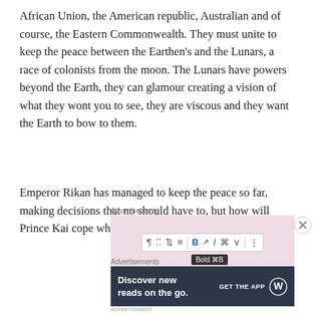African Union, the American republic, Australian and of course, the Eastern Commonwealth. They must unite to keep the peace between the Earthen's and the Lunars, a race of colonists from the moon. The Lunars have powers beyond the Earth, they can glamour creating a vision of what they wont you to see, they are viscous and they want the Earth to bow to them.
Emperor Rikan has managed to keep the peace so far, making decisions that no should have to, but how will Prince Kai cope when the reigns are passed over?
Advertisements
[Figure (screenshot): WordPress block editor toolbar showing paragraph, grid, move, align, Bold (B), italic (I), link, chevron, and options icons, with a 'Bold ⌘B' tooltip visible below the Bold button. Background is pink/rose colored.]
Advertisements
[Figure (infographic): Dark gray advertisement banner reading 'Discover new reads on the go.' with 'GET THE APP' call to action and WordPress logo.]